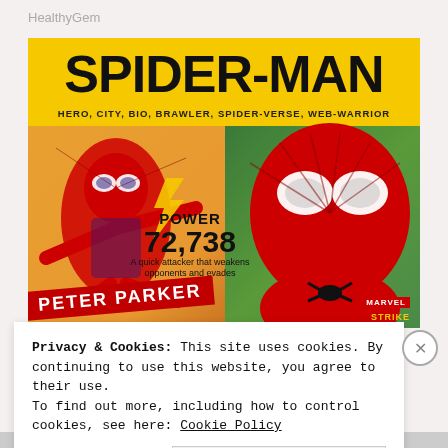HealthyGem
[Figure (illustration): Spider-Man Marvel Strike Force game card. Yellow background with bold black text 'SPIDER-MAN' as title, subtitle 'HERO, CITY, BIO, BRAWLER, SPIDER-VERSE, WEB-WARRIOR'. Left side shows animated/comic Spider-Man in action pose on orange background. Right side shows photorealistic Spider-Man head and upper body on green city background. Center shows 'POWER 72,738' and description 'A quick attacker that weakens opponents and evades'. Bottom-left shows diagonal red banner 'PETER PARKER'. Bottom-right shows Marvel Strike Force logo.]
Privacy & Cookies: This site uses cookies. By continuing to use this website, you agree to their use.
To find out more, including how to control cookies, see here: Cookie Policy
Close and accept